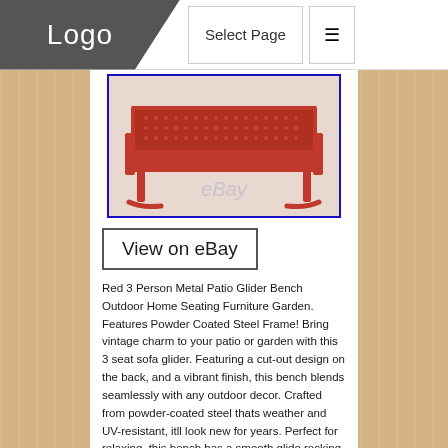Logo | Select Page
[Figure (photo): Red 3-person metal patio glider bench with perforated back, shown on eBay listing image with blue border]
[Figure (screenshot): View on eBay button with dark border]
Red 3 Person Metal Patio Glider Bench Outdoor Home Seating Furniture Garden. Features Powder Coated Steel Frame! Bring vintage charm to your patio or garden with this 3 seat sofa glider. Featuring a cut-out design on the back, and a vibrant finish, this bench blends seamlessly with any outdoor decor. Crafted from powder-coated steel thats weather and UV-resistant, itll look new for years. Perfect for relaxing, this bench has a smooth glide rocking mechanism thatll quickly make it a favorite. Dimensions: 32.5L x 65.75W x 28H in. Smooth glide rocking mechanism. See picture for more details!